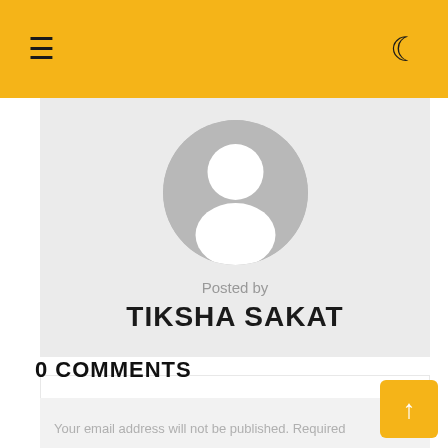≡ ☾
[Figure (illustration): Author profile card with circular avatar placeholder (grey circle with white silhouette figure), text 'Posted by' in grey, and author name 'TIKSHA SAKAT' in bold black]
Posted by
TIKSHA SAKAT
0 COMMENTS
Your email address will not be published. Required